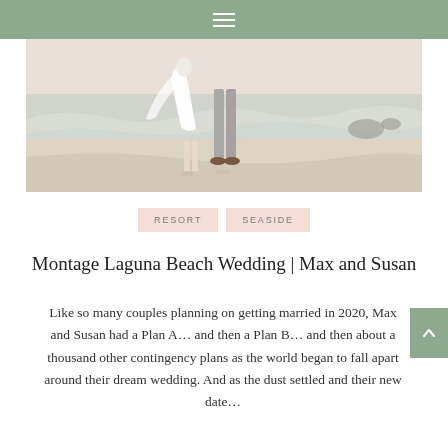≡
[Figure (photo): Beach wedding photo showing a couple walking along the shoreline, waves washing onto sandy beach, bride in white dress and groom in grey pants and brown shoes.]
RESORT   SEASIDE
Montage Laguna Beach Wedding | Max and Susan
Like so many couples planning on getting married in 2020, Max and Susan had a Plan A… and then a Plan B… and then about a thousand other contingency plans as the world began to fall apart around their dream wedding. And as the dust settled and their new date…